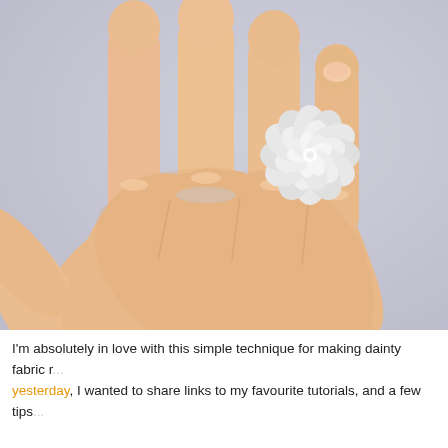[Figure (photo): Close-up photograph of a hand wearing a large white fabric flower ring shaped like a rose/peony on the middle finger. The background is a soft light grey/lavender blur.]
I'm absolutely in love with this simple technique for making dainty fabric r... yesterday, I wanted to share links to my favourite tutorials, and a few tips...